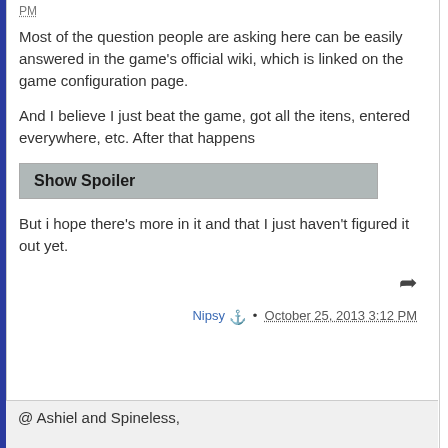PM
Most of the question people are asking here can be easily answered in the game's official wiki, which is linked on the game configuration page.
And I believe I just beat the game, got all the itens, entered everywhere, etc. After that happens
Show Spoiler
But i hope there's more in it and that I just haven't figured it out yet.
Nipsy · October 25, 2013 3:12 PM
@ Ashiel and Spineless,

Thanks!